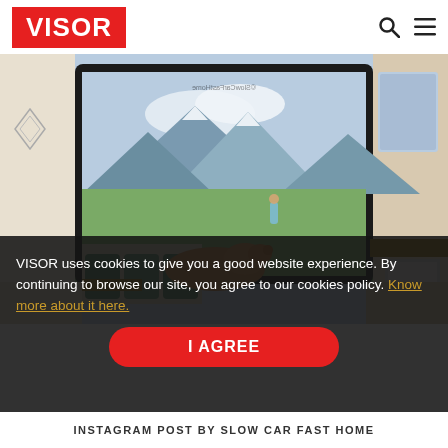VISOR
[Figure (photo): Interior of a camper van with a large window showing a scenic mountain and green field view. A brown dog lies on a couch looking out the window. A person stands in the field outside. The interior has white cabinetry, tropical print cushions, and geometric wall ornaments. Watermark reads ©SlowCarFastHome (mirrored).]
VISOR uses cookies to give you a good website experience. By continuing to browse our site, you agree to our cookies policy. Know more about it here.
I AGREE
INSTAGRAM POST BY SLOW CAR FAST HOME